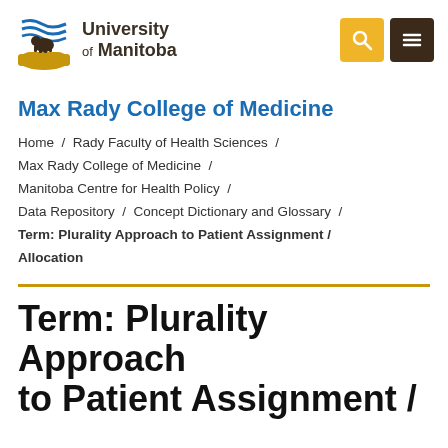[Figure (logo): University of Manitoba logo with bison and stylized wave icon, alongside university name text]
Max Rady College of Medicine
Home / Rady Faculty of Health Sciences / Max Rady College of Medicine / Manitoba Centre for Health Policy / Data Repository / Concept Dictionary and Glossary / Term: Plurality Approach to Patient Assignment / Allocation
Term: Plurality Approach to Patient Assignment /